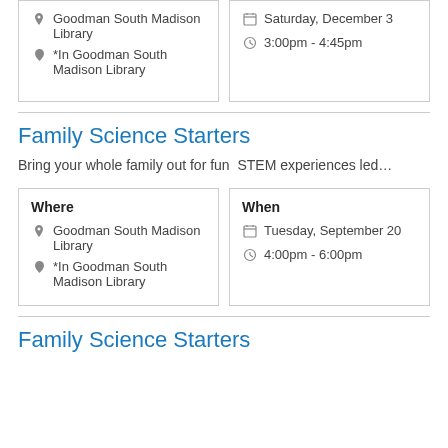| Where | When |
| --- | --- |
| Goodman South Madison Library
*In Goodman South Madison Library | Saturday, December 3
3:00pm - 4:45pm |
Family Science Starters
Bring your whole family out for fun  STEM experiences led…
| Where | When |
| --- | --- |
| Goodman South Madison Library
*In Goodman South Madison Library | Tuesday, September 20
4:00pm - 6:00pm |
Family Science Starters